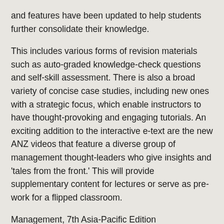and features have been updated to help students further consolidate their knowledge.
This includes various forms of revision materials such as auto-graded knowledge-check questions and self-skill assessment. There is also a broad variety of concise case studies, including new ones with a strategic focus, which enable instructors to have thought-provoking and engaging tutorials. An exciting addition to the interactive e-text are the new ANZ videos that feature a diverse group of management thought-leaders who give insights and 'tales from the front.' This will provide supplementary content for lectures or serve as pre-work for a flipped classroom.
Management, 7th Asia-Pacific Edition Schermerhorn, Davidson, Woods, Factor, Junaid, McBarron 2020 Test Bank